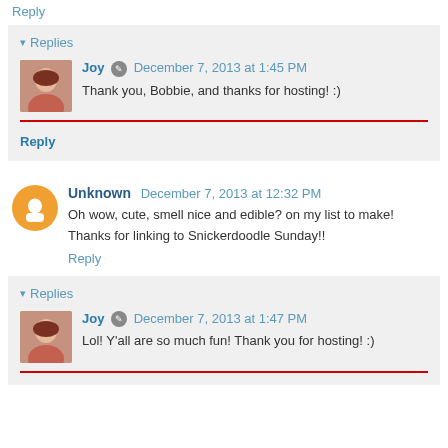Reply
▾ Replies
Joy  December 7, 2013 at 1:45 PM
Thank you, Bobbie, and thanks for hosting! :)
Reply
Unknown  December 7, 2013 at 12:32 PM
Oh wow, cute, smell nice and edible? on my list to make! Thanks for linking to Snickerdoodle Sunday!!
Reply
▾ Replies
Joy  December 7, 2013 at 1:47 PM
Lol! Y'all are so much fun! Thank you for hosting! :)